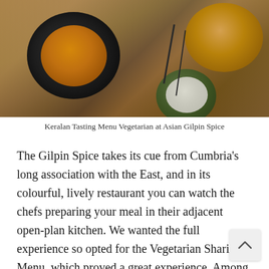[Figure (photo): Overhead food photography showing Indian dishes including a dark bowl of curry/dal with paneer and curry leaves, a smaller bowl of white rice with a spoon, and a seeded bread roll/bun, with a black fork and knife on a wooden surface.]
Keralan Tasting Menu Vegetarian at Asian Gilpin Spice
The Gilpin Spice takes its cue from Cumbria’s long association with the East, and in its colourful, lively restaurant you can watch the chefs preparing your meal in their adjacent open-plan kitchen. We wanted the full experience so opted for the Vegetarian Sharing Menu, which proved a great experience. Among the many highlights was the Delhi ‘Kacho stuffed pastry with garlic chutney, sweet yoghurt and tamarind and Baked Austritch Spiced P...